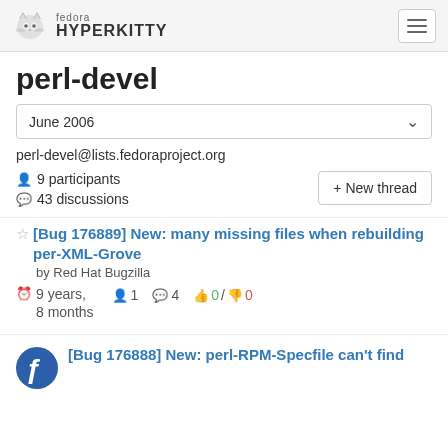fedora HYPERKITTY
perl-devel
June 2006
perl-devel@lists.fedoraproject.org
9 participants
43 discussions
+ New thread
[Bug 176889] New: many missing files when rebuilding per-XML-Grove
by Red Hat Bugzilla
9 years, 8 months
1
4
0 / 0
[Bug 176888] New: perl-RPM-Specfile can't find